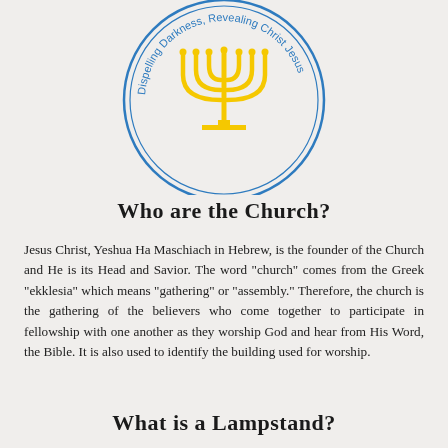[Figure (logo): Circular seal/logo with a golden menorah (seven-branched lampstand) in the center, surrounded by two concentric blue rings. Text along the inner ring reads 'Dispelling Darkness, Revealing Christ Jesus' in blue.]
Who are the Church?
Jesus Christ, Yeshua Ha Maschiach in Hebrew, is the founder of the Church and He is its Head and Savior. The word "church" comes from the Greek "ekklesia" which means "gathering" or "assembly." Therefore, the church is the gathering of the believers who come together to participate in fellowship with one another as they worship God and hear from His Word, the Bible. It is also used to identify the building used for worship.
What is a Lampstand?